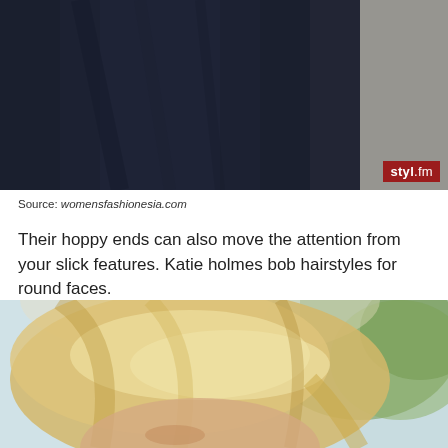[Figure (photo): Photo of a person wearing a dark navy/black top, upper body visible, with a styl.fm watermark badge in the bottom right corner]
Source: womensfashionesia.com
Their hoppy ends can also move the attention from your slick features. Katie holmes bob hairstyles for round faces.
[Figure (photo): Close-up photo of a person with short blonde hair, shot outdoors with blurred green and light background]